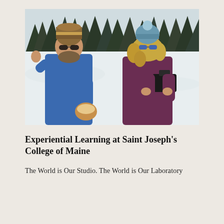[Figure (photo): Two people standing outdoors in a snowy winter landscape. On the left, a heavyset man wearing a blue jacket, brown/tan winter hat with stripes, sunglasses, and holding large tan leather mittens, gesturing with one hand. On the right, a woman with curly blonde hair wearing a dark maroon/purple puffer jacket, a blue pompom winter hat, blue sunglasses, and holding a camera. Trees covered in snow are visible in the background.]
Experiential Learning at Saint Joseph's College of Maine
The World is Our Studio. The World is Our Laboratory